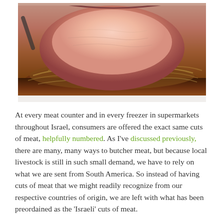[Figure (photo): Close-up photo of a sliced medium-rare roast beef served over caramelized onions in a dark brown sauce on a white plate]
At every meat counter and in every freezer in supermarkets throughout Israel, consumers are offered the exact same cuts of meat, helpfully numbered. As I've discussed previously, there are many, many ways to butcher meat, but because local livestock is still in such small demand, we have to rely on what we are sent from South America. So instead of having cuts of meat that we might readily recognize from our respective countries of origin, we are left with what has been preordained as the 'Israeli' cuts of meat.
Then there's the odd notion in household cooking that the form in which one receives a protein is the form in which it intended to be cooked. Therefore a whole chicken is cooked whole, fish fillets are cooked as fillets, and a roast is meant to